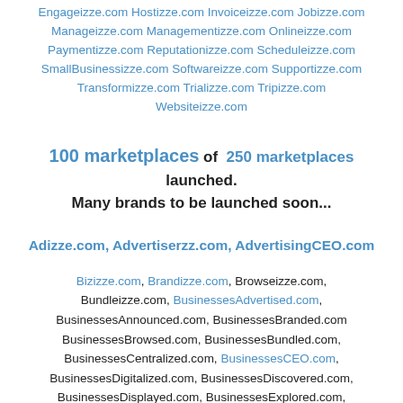Engageizze.com Hostizze.com Invoiceizze.com Jobizze.com Manageizze.com Managementizze.com Onlineizze.com Paymentizze.com Reputationizze.com Scheduleizze.com SmallBusinessizze.com Softwareizze.com Supportizze.com Transformizze.com Trializze.com Tripizze.com Websiteizze.com
100 marketplaces of 250 marketplaces launched. Many brands to be launched soon...
Adizze.com, Advertiserzz.com, AdvertisingCEO.com
Bizizze.com, Brandizze.com, Browseizze.com, Bundleizze.com, BusinessesAdvertised.com, BusinessesAnnounced.com, BusinessesBranded.com BusinessesBrowsed.com, BusinessesBundled.com, BusinessesCentralized.com, BusinessesCEO.com, BusinessesDigitalized.com, BusinessesDiscovered.com, BusinessesDisplayed.com, BusinessesExplored.com,